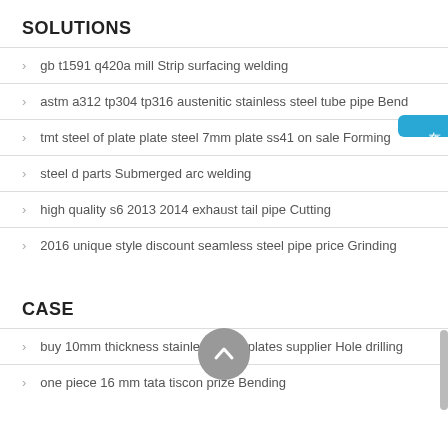SOLUTIONS
gb t1591 q420a mill Strip surfacing welding
astm a312 tp304 tp316 austenitic stainless steel tube pipe Bend
tmt steel of plate plate steel 7mm plate ss41 on sale Forming
steel d parts Submerged arc welding
high quality s6 2013 2014 exhaust tail pipe Cutting
2016 unique style discount seamless steel pipe price Grinding
CASE
buy 10mm thickness stainless steel plates supplier Hole drilling
one piece 16 mm tata tiscon prize Bending